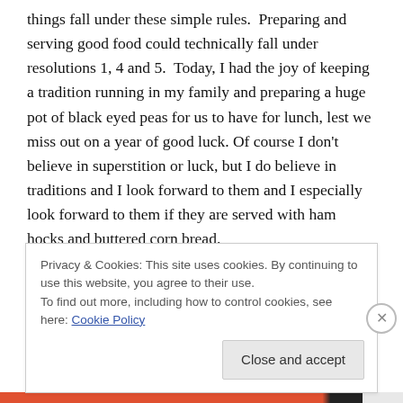things fall under these simple rules. Preparing and serving good food could technically fall under resolutions 1, 4 and 5. Today, I had the joy of keeping a tradition running in my family and preparing a huge pot of black eyed peas for us to have for lunch, lest we miss out on a year of good luck. Of course I don't believe in superstition or luck, but I do believe in traditions and I look forward to them and I especially look forward to them if they are served with ham hocks and buttered corn bread.
Growing up, my Mammaw would bring us fresh frozen
Privacy & Cookies: This site uses cookies. By continuing to use this website, you agree to their use.
To find out more, including how to control cookies, see here: Cookie Policy
Close and accept